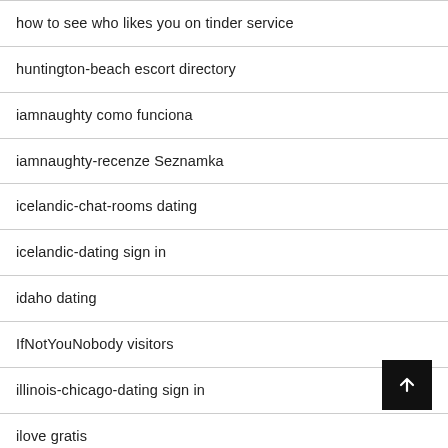how to see who likes you on tinder service
huntington-beach escort directory
iamnaughty como funciona
iamnaughty-recenze Seznamka
icelandic-chat-rooms dating
icelandic-dating sign in
idaho dating
IfNotYouNobody visitors
illinois-chicago-dating sign in
ilove gratis
imeetzu web